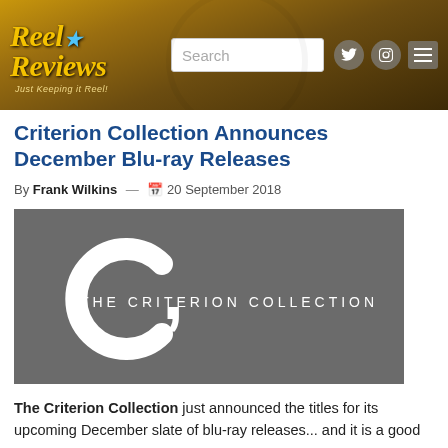Reel Reviews — Just Keeping it Reel
Criterion Collection Announces December Blu-ray Releases
By Frank Wilkins — 20 September 2018
[Figure (logo): The Criterion Collection logo: white stylized C and text 'THE CRITERION COLLECTION' on a dark grey background]
The Criterion Collection just announced the titles for its upcoming December slate of blu-ray releases... and it is a good one.
Some of the titles on the schedule have been rumored to be coming for some time, such as Samuel Fuller's Forty